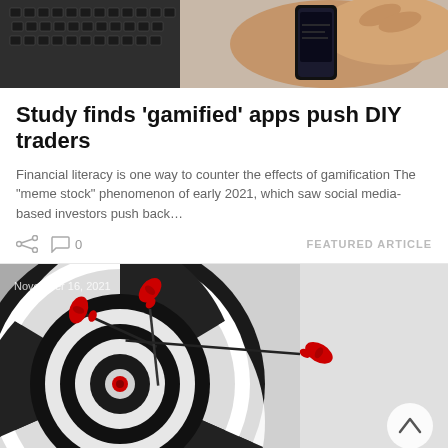[Figure (photo): Person holding a smartphone near a laptop keyboard, viewed from above]
Study finds ‘gamified’ apps push DIY traders
Financial literacy is one way to counter the effects of gamification The “meme stock” phenomenon of early 2021, which saw social media-based investors push back…
0   FEATURED ARTICLE
[Figure (photo): Three red darts stuck in the bullseye area of a dartboard, black and white dartboard with red darts in color. Date overlay: November 16, 2021. Scroll-to-top button visible bottom right.]